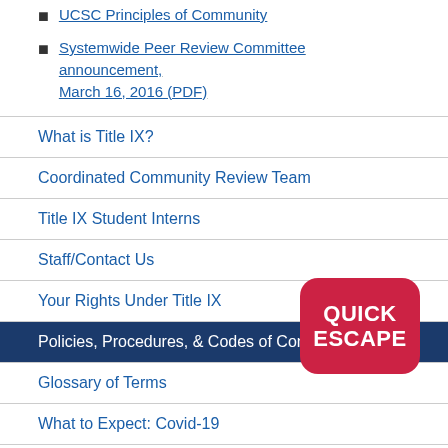UCSC Principles of Community
Systemwide Peer Review Committee announcement, March 16, 2016 (PDF)
What is Title IX?
Coordinated Community Review Team
Title IX Student Interns
Staff/Contact Us
Your Rights Under Title IX
Policies, Procedures, & Codes of Conduct
Glossary of Terms
What to Expect: Covid-19
[Figure (other): Quick Escape button — red rounded rectangle with white bold text reading QUICK ESCAPE]